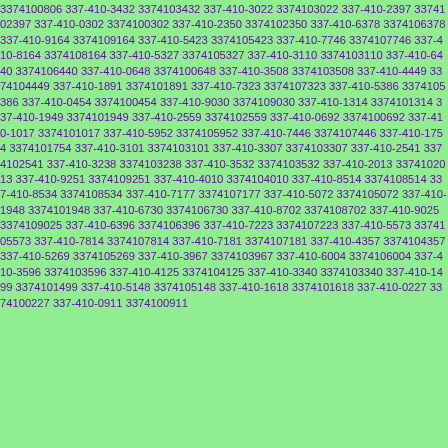3374100806 337-410-3432 3374103432 337-410-3022 3374103022 337-410-2397 3374102397 337-410-0302 3374100302 337-410-2350 3374102350 337-410-6378 3374106378 337-410-9164 3374109164 337-410-5423 3374105423 337-410-7746 3374107746 337-410-8164 3374108164 337-410-5327 3374105327 337-410-3110 3374103110 337-410-6440 3374106440 337-410-0648 3374100648 337-410-3508 3374103508 337-410-4449 3374104449 337-410-1891 3374101891 337-410-7323 3374107323 337-410-5386 3374105386 337-410-0454 3374100454 337-410-9030 3374109030 337-410-1314 3374101314 337-410-1949 3374101949 337-410-2559 3374102559 337-410-0692 3374100692 337-410-1017 3374101017 337-410-5952 3374105952 337-410-7446 3374107446 337-410-1754 3374101754 337-410-3101 3374103101 337-410-3307 3374103307 337-410-2541 3374102541 337-410-3238 3374103238 337-410-3532 3374103532 337-410-2013 3374102013 337-410-9251 3374109251 337-410-4010 3374104010 337-410-8514 3374108514 337-410-8534 3374108534 337-410-7177 3374107177 337-410-5072 3374105072 337-410-1948 3374101948 337-410-6730 3374106730 337-410-8702 3374108702 337-410-9025 3374109025 337-410-6396 3374106396 337-410-7223 3374107223 337-410-5573 3374105573 337-410-7814 3374107814 337-410-7181 3374107181 337-410-4357 3374104357 337-410-5269 3374105269 337-410-3967 3374103967 337-410-6004 3374106004 337-410-3596 3374103596 337-410-4125 3374104125 337-410-3340 3374103340 337-410-1499 3374101499 337-410-5148 3374105148 337-410-1618 3374101618 337-410-0227 3374100227 337-410-0911 3374100911